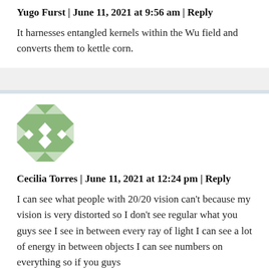Yugo Furst | June 11, 2021 at 9:56 am | Reply
It harnesses entangled kernels within the Wu field and converts them to kettle corn.
[Figure (illustration): Green and white geometric avatar/identicon pattern]
Cecilia Torres | June 11, 2021 at 12:24 pm | Reply
I can see what people with 20/20 vision can't because my vision is very distorted so I don't see regular what you guys see I see in between every ray of light I can see a lot of energy in between objects I can see numbers on everything so if you guys